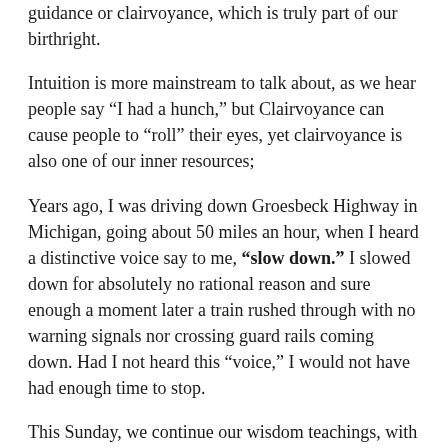guidance or clairvoyance, which is truly part of our birthright.
Intuition is more mainstream to talk about, as we hear people say “I had a hunch,” but Clairvoyance can cause people to “roll” their eyes, yet clairvoyance is also one of our inner resources;
Years ago, I was driving down Groesbeck Highway in Michigan, going about 50 miles an hour, when I heard a distinctive voice say to me, “slow down.” I slowed down for absolutely no rational reason and sure enough a moment later a train rushed through with no warning signals nor crossing guard rails coming down. Had I not heard this “voice,” I would not have had enough time to stop.
This Sunday, we continue our wisdom teachings, with an amazing story from J Allen Boone, about communicating with monkeys.
Boone, a reporter, mystic, world traveler, and author of many books including, his classic, “The Language of Silence,” developed his inner subtle abilities to communicate with animals. Today we would call him an “animal whisperer.” He is most famous for his work with training Rin Tin Tin.